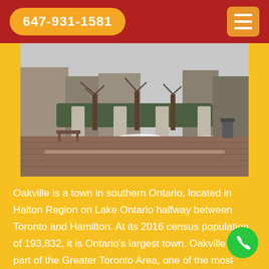647-931-1581
[Figure (photo): Street-level view of a downtown area in winter with light snow on the ground, featuring trees, benches, brick pavement, and buildings in the background.]
Oakville is a town in southern Ontario, located in Halton Region on Lake Ontario halfway between Toronto and Hamilton. At its 2016 census population of 193,832, it is Ontario's largest town. Oakville is part of the Greater Toronto Area, one of the most densely populated areas of Canada.